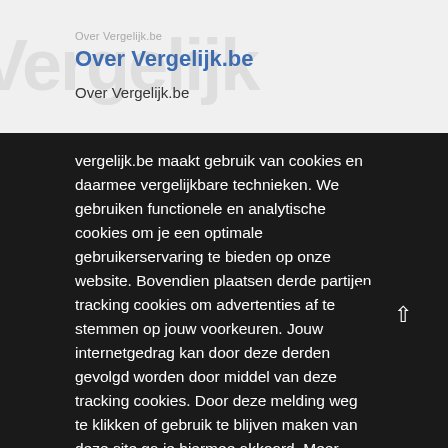Over Vergelijk.be
Over Vergelijk.be
Over Vergelijk.be
Vacatures
vergelijk.be maakt gebruik van cookies en daarmee vergelijkbare technieken. We gebruiken functionele en analytische cookies om je een optimale gebruikerservaring te bieden op onze website. Bovendien plaatsen derde partijen tracking cookies om advertenties af te stemmen op jouw voorkeuren. Jouw internetgedrag kan door deze derden gevolgd worden door middel van deze tracking cookies. Door deze melding weg te klikken of gebruik te blijven maken van deze site ga je hiermee akkoord. Meer informatie over deze cookies vind je hier.
Veelgestelde vragen
Contact
Sluiten
×
Populaire wandelschoenen producten